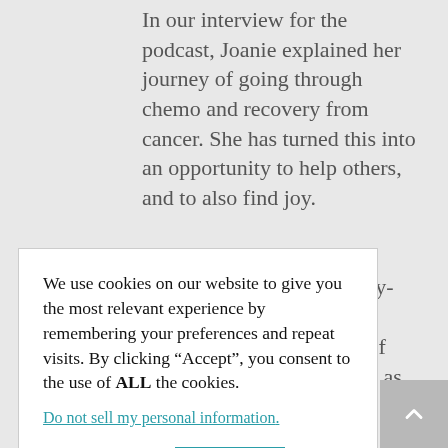In our interview for the podcast, Joanie explained her journey of going through chemo and recovery from cancer. She has turned this into an opportunity to help others, and to also find joy.
First, she is part of a social group for ovarian cancer survivors that the [partially obscured] Sunny- [partially obscured] a way of [partially obscured] well as [partially obscured] had nine [partially obscured] in the [partially obscured] ntana.
We use cookies on our website to give you the most relevant experience by remembering your preferences and repeat visits. By clicking “Accept”, you consent to the use of ALL the cookies.
Do not sell my personal information.
Cookie settings
ACCEPT
This is offered free of charge for cancer